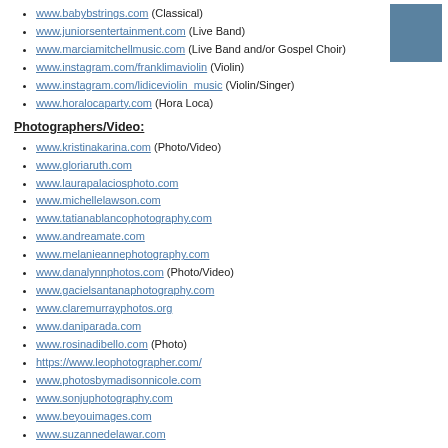www.babybstrings.com (Classical)
www.juniorsentertainment.com (Live Band)
www.marciamitchellmusic.com (Live Band and/or Gospel Choir)
www.instagram.com/franklimaviolin (Violin)
www.instagram.com/lidiceviolin_music (Violin/Singer)
www.horalocaparty.com (Hora Loca)
[Figure (other): Blue/grey colored square box in upper right corner]
Photographers/Video:
www.kristinakarina.com (Photo/Video)
www.gloriaruth.com
www.laurapalaciosphoto.com
www.michellelawson.com
www.tatianablancophotography.com
www.andreamate.com
www.melanieannephotography.com
www.danalynnphotos.com (Photo/Video)
www.gacielsantanaphotography.com
www.claremurrayphotos.org
www.daniparada.com
www.rosinadibello.com (Photo)
https://www.leophotographer.com/
www.photosbymadisonnicole.com
www.sonjuphotography.com
www.beyouimages.com
www.suzannedelawar.com
www.munozphotography.com
www.ninasutherland.com
http://prodriquezphoto.com/
www.niriaweddingphotography.com/ (Photo/Video)